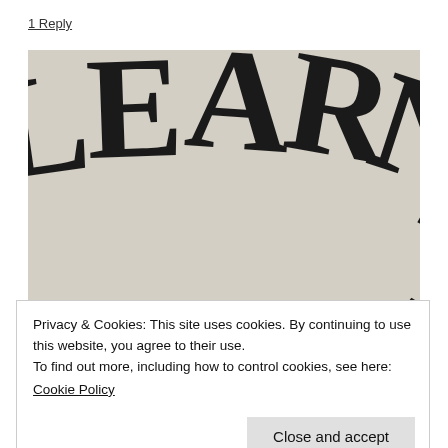1 Reply
[Figure (illustration): Large decorative blackletter/gothic-style text spelling 'LEARNING' curved along an arc on a beige/tan background. Only part of the word is visible, starting from partial 'L' through 'G' curving downward to the right.]
Privacy & Cookies: This site uses cookies. By continuing to use this website, you agree to their use.
To find out more, including how to control cookies, see here:
Cookie Policy
Close and accept
Sneaky Sneaky –